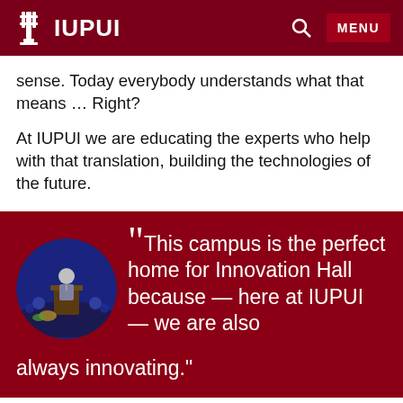IUPUI
sense. Today everybody understands what that means … Right?
At IUPUI we are educating the experts who help with that translation, building the technologies of the future.
[Figure (photo): Circular profile photo of a speaker at a podium on a stage with audience in background]
“This campus is the perfect home for Innovation Hall because — here at IUPUI — we are also always innovating."